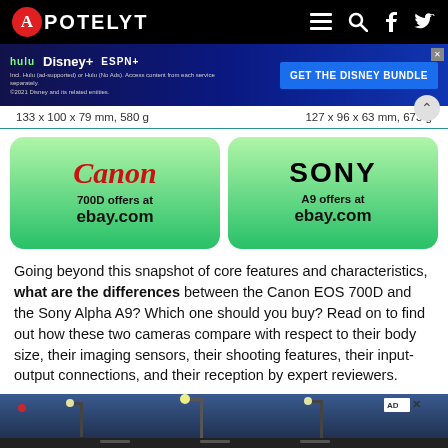APOTELYT
[Figure (screenshot): Disney Bundle advertisement banner with Hulu, Disney+, ESPN+ logos and 'GET THE DISNEY BUNDLE' button]
133 x 100 x 79 mm, 580 g	127 x 96 x 63 mm, 673 g
[Figure (infographic): Two shop cards side by side: Canon 700D offers at ebay.com and Sony A9 offers at ebay.com, on green gradient backgrounds]
Going beyond this snapshot of core features and characteristics, what are the differences between the Canon EOS 700D and the Sony Alpha A9? Which one should you buy? Read on to find out how these two cameras compare with respect to their body size, their imaging sensors, their shooting features, their input-output connections, and their reception by expert reviewers.
[Figure (photo): Nighttime street scene with lamp posts and dark sky, partial view at bottom of page, with AD badge]